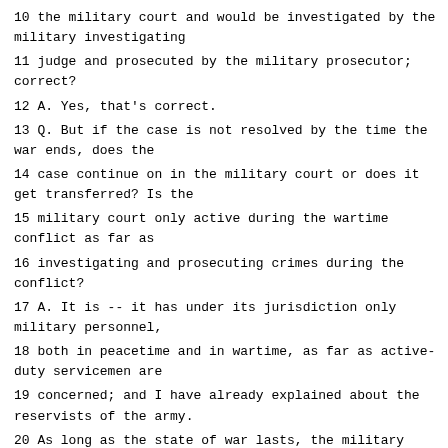10 the military court and would be investigated by the military investigating
11 judge and prosecuted by the military prosecutor; correct?
12 A. Yes, that's correct.
13 Q. But if the case is not resolved by the time the war ends, does the
14 case continue on in the military court or does it get transferred? Is the
15 military court only active during the wartime conflict as far as
16 investigating and prosecuting crimes during the conflict?
17 A. It is -- it has under its jurisdiction only military personnel,
18 both in peacetime and in wartime, as far as active-duty servicemen are
19 concerned; and I have already explained about the reservists of the army.
20 As long as the state of war lasts, the military court has jurisdiction.